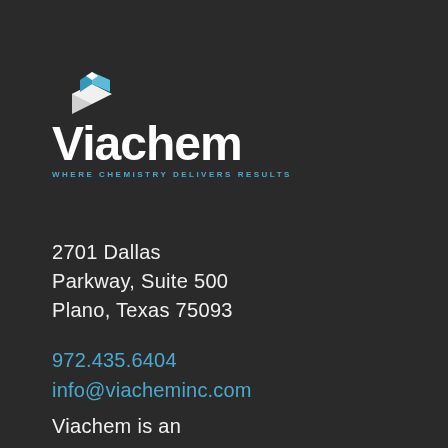[Figure (logo): Viachem logo with geometric diamond/box icon in blue and white above the word 'Viachem' in white bold text and tagline 'WHERE CHEMISTRY DELIVERS RESULTS' in blue small caps]
2701 Dallas Parkway, Suite 500 Plano, Texas 75093
972.435.6404
info@viacheminc.com
Viachem is an